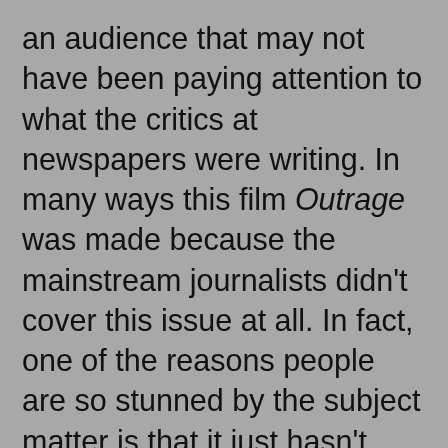an audience that may not have been paying attention to what the critics at newspapers were writing. In many ways this film Outrage was made because the mainstream journalists didn't cover this issue at all. In fact, one of the reasons people are so stunned by the subject matter is that it just hasn't been reported on. That even applies to this film. I know there is one major reviewer who wrote a piece on the film and then had it